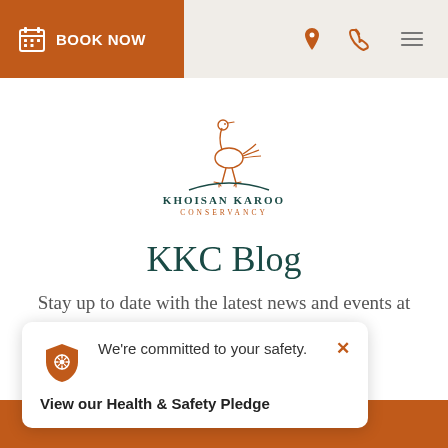BOOK NOW | location icon | phone icon | menu icon
[Figure (logo): Khoisan Karoo Conservancy logo — an ostrich-like bird drawn in orange lines standing above an arc, with text KHOISAN KAROO CONSERVANCY in teal]
KKC Blog
Stay up to date with the latest news and events at
We're committed to your safety.
View our Health & Safety Pledge